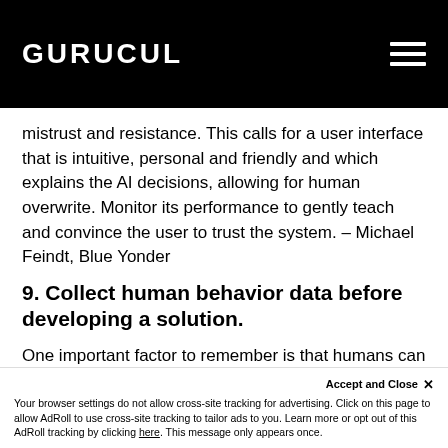GURUCUL
mistrust and resistance. This calls for a user interface that is intuitive, personal and friendly and which explains the AI decisions, allowing for human overwrite. Monitor its performance to gently teach and convince the user to trust the system. – Michael Feindt, Blue Yonder
9. Collect human behavior data before developing a solution.
One important factor to remember is that humans can be both very predictable and unpredictable. If the application is responsible for monitoring human activity, g...
Accept and Close ×
Your browser settings do not allow cross-site tracking for advertising. Click on this page to allow AdRoll to use cross-site tracking to tailor ads to you. Learn more or opt out of this AdRoll tracking by clicking here. This message only appears once.